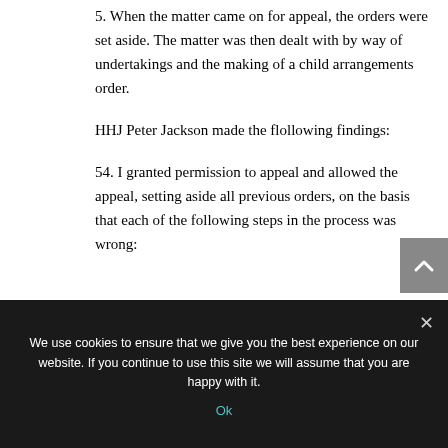5. When the matter came on for appeal, the orders were set aside. The matter was then dealt with by way of undertakings and the making of a child arrangements order.
HHJ Peter Jackson made the flollowing findings:
54. I granted permission to appeal and allowed the appeal, setting aside all previous orders, on the basis that each of the following steps in the process was wrong:
We use cookies to ensure that we give you the best experience on our website. If you continue to use this site we will assume that you are happy with it.
Ok